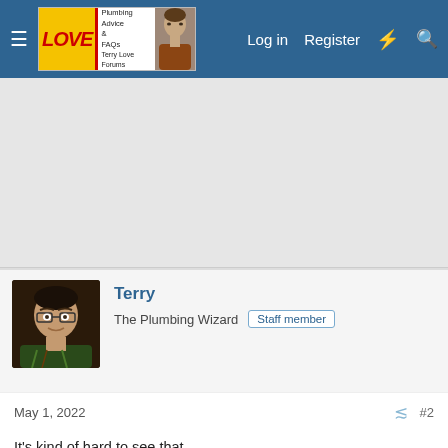Terry Love Forums — Log in  Register
[Figure (screenshot): Advertisement placeholder area, light grey background]
Terry
The Plumbing Wizard  Staff member
May 1, 2022  #2
It's kind of hard to see that.
Is this a kitchen faucet with a pull out spray? And if so, what brand?